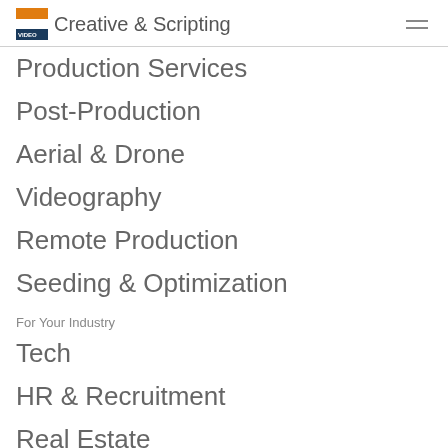Creative & Scripting
Production Services
Post-Production
Aerial & Drone
Videography
Remote Production
Seeding & Optimization
For Your Industry
Tech
HR & Recruitment
Real Estate
Restaurants & Hospitality
Retail